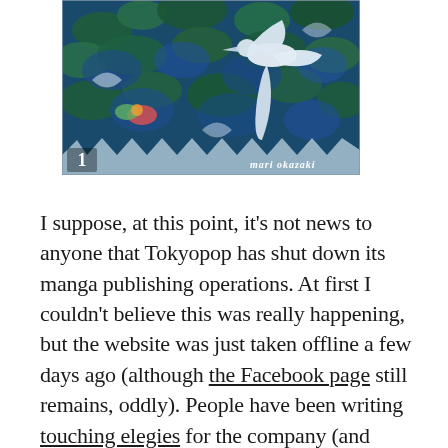[Figure (illustration): Manga book cover showing a bird (crane/heron) in blue foliage with the number '1' in the bottom left and 'mari okazaki' text at the bottom center-right.]
I suppose, at this point, it's not news to anyone that Tokyopop has shut down its manga publishing operations. At first I couldn't believe this was really happening, but the website was just taken offline a few days ago (although the Facebook page still remains, oddly). People have been writing touching elegies for the company (and perhaps an even greater number of people have been castigating its president); but, for me, it's really all about the books Tokyopop published – and getting my